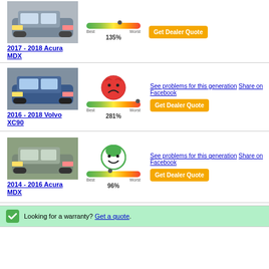[Figure (photo): Photo of 2017-2018 Acura MDX SUV, silver/gray, front 3/4 view]
2017 - 2018 Acura MDX
[Figure (infographic): Reliability meter showing 135% (gauge near worst end), sad face icon]
[Figure (other): Get Dealer Quote orange button]
[Figure (photo): Photo of 2016-2018 Volvo XC90 SUV, blue, front 3/4 view]
2016 - 2018 Volvo XC90
See problems for this generation Share on Facebook
[Figure (infographic): Reliability meter showing 281% (gauge at worst end), very sad face icon]
[Figure (other): Get Dealer Quote orange button]
[Figure (photo): Photo of 2014-2016 Acura MDX SUV, silver/gray, side view]
2014 - 2016 Acura MDX
See problems for this generation Share on Facebook
[Figure (infographic): Reliability meter showing 96% (gauge near middle), happy face icon with green hair]
[Figure (other): Get Dealer Quote orange button]
Looking for a warranty? Get a quote.